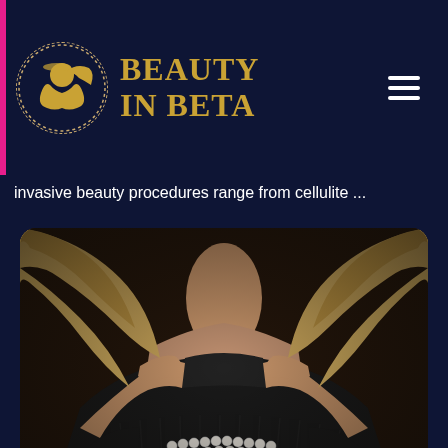BEAUTY IN BETA
invasive beauty procedures range from cellulite ...
[Figure (photo): Close-up photo of a woman wearing a black turtleneck sweater with pearl bracelet, hands raised near neck/face, blonde hair visible, dark background]
Spa Lap Pool